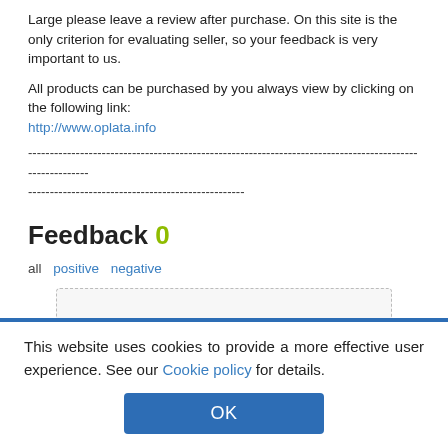Large please leave a review after purchase. On this site is the only criterion for evaluating seller, so your feedback is very important to us.
All products can be purchased by you always view by clicking on the following link:
http://www.oplata.info
------------------------------------------------------------------------------------------
---------------------------------------------------
Feedback 0
all  positive  negative
This website uses cookies to provide a more effective user experience. See our Cookie policy for details.
OK